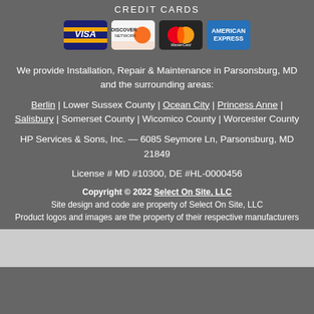CREDIT CARDS
[Figure (logo): Four credit card logos: Visa, Discover Network, MasterCard, American Express]
We provide Installation, Repair & Maintenance in Parsonsburg, MD and the surrounding areas:
Berlin | Lower Sussex County | Ocean City | Princess Anne | Salisbury | Somerset County | Wicomico County | Worcester County
HP Services & Sons, Inc. — 6085 Seymore Ln, Parsonsburg, MD 21849
License # MD #10300, DE #HL-0000456
Copyright © 2022 Select On Site, LLC
Site design and code are property of Select On Site, LLC
Product logos and images are the property of their respective manufacturers